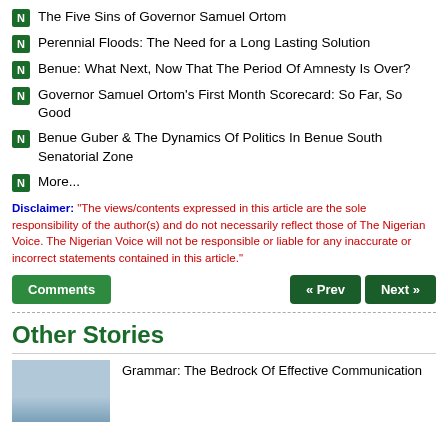The Five Sins of Governor Samuel Ortom
Perennial Floods: The Need for a Long Lasting Solution
Benue: What Next, Now That The Period Of Amnesty Is Over?
Governor Samuel Ortom’s First Month Scorecard: So Far, So Good
Benue Guber & The Dynamics Of Politics In Benue South Senatorial Zone
More...
Disclaimer: “The views/contents expressed in this article are the sole responsibility of the author(s) and do not necessarily reflect those of The Nigerian Voice. The Nigerian Voice will not be responsible or liable for any inaccurate or incorrect statements contained in this article.”
Comments | « Prev | Next »
Other Stories
Grammar: The Bedrock Of Effective Communication